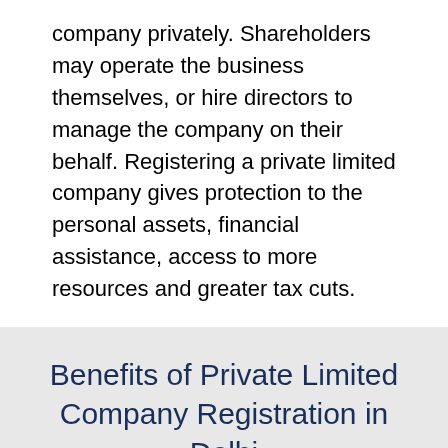company privately. Shareholders may operate the business themselves, or hire directors to manage the company on their behalf. Registering a private limited company gives protection to the personal assets, financial assistance, access to more resources and greater tax cuts.
Benefits of Private Limited Company Registration in Delhi
Opportunities
Undoubtedly Delhi is the heart of startup